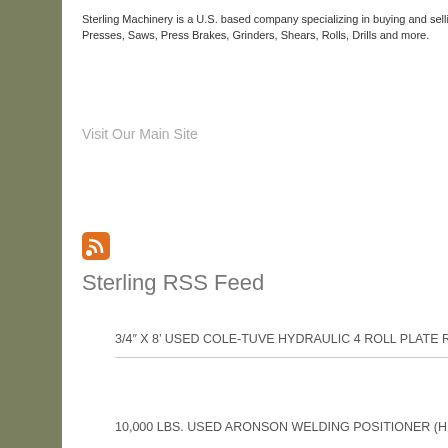Sterling Machinery is a U.S. based company specializing in buying and selling used machinery such as Lathes, Mills, Presses, Saws, Press Brakes, Grinders, Shears, Rolls, Drills and more.
Visit Our Main Site
[Figure (logo): RSS feed orange icon]
Sterling RSS Feed
3/4" X 8' USED COLE-TUVE HYDRAULIC 4 ROLL PLATE ROLL MACHINE Mdl. 4RS-8-320 #A6076
10,000 LBS. USED ARONSON WELDING POSITIONER (HEAVY DUTY) Mdl. HD100A #A6946
Positioning, #S
http://www.sterlingmachi...
626-444-0311
Full Description
Length of Be
Distance Between R
Be
B
Wedge Clam
Ra
Ope